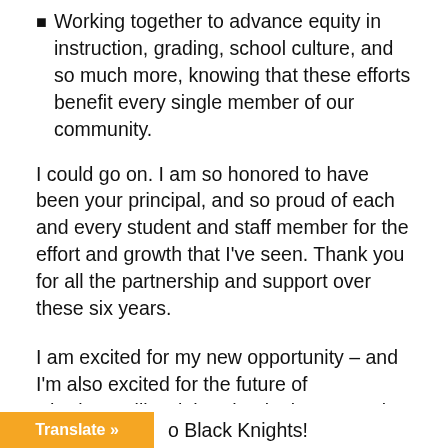Working together to advance equity in instruction, grading, school culture, and so much more, knowing that these efforts benefit every single member of our community.
I could go on. I am so honored to have been your principal, and so proud of each and every student and staff member for the effort and growth that I've seen. Thank you for all the partnership and support over these six years.
I am excited for my new opportunity – and I'm also excited for the future of Charlottesville High School. I leave a truly talented administrative team in place at the school, and Charlottesville City Schools is fortunate to have Dr. Gurley at the helm. The future of [o Black Knights!